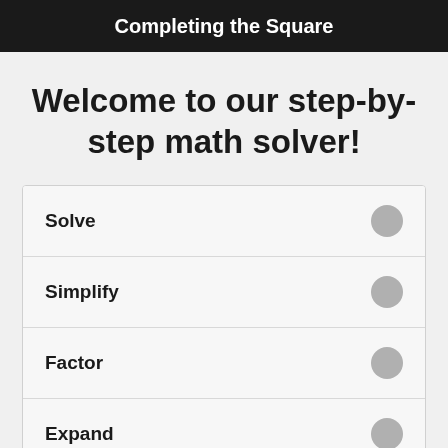Completing the Square
Welcome to our step-by-step math solver!
Solve
Simplify
Factor
Expand
Graph
GCF
LCM